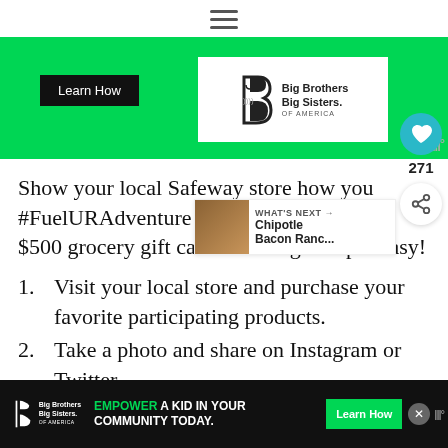☰
[Figure (illustration): Green banner ad for Big Brothers Big Sisters of America with 'Learn How' button on black background and BBBS logo on white background]
Show your local Safeway store how you #FuelURAdventure for a chance to win a $500 grocery gift card. Entering is super easy!
Visit your local store and purchase your favorite participating products.
Take a photo and share on Instagram or Twitter ...
[Figure (screenshot): Bottom banner ad: Big Brothers Big Sisters logo, 'EMPOWER A KID IN YOUR COMMUNITY TODAY.' text in green and white, Learn How button, close X button, WW logo]